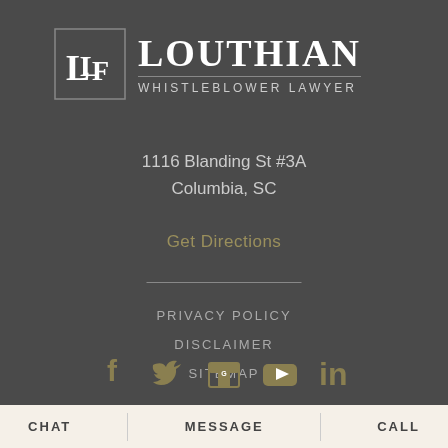[Figure (logo): Louthian Whistleblower Lawyer logo with stylized LLF monogram in a square border and the firm name in white serif text]
1116 Blanding St #3A
Columbia, SC
Get Directions
PRIVACY POLICY
DISCLAIMER
SITEMAP
[Figure (infographic): Social media icons: Facebook, Twitter, Google My Business, YouTube, LinkedIn]
CHAT   MESSAGE   CALL